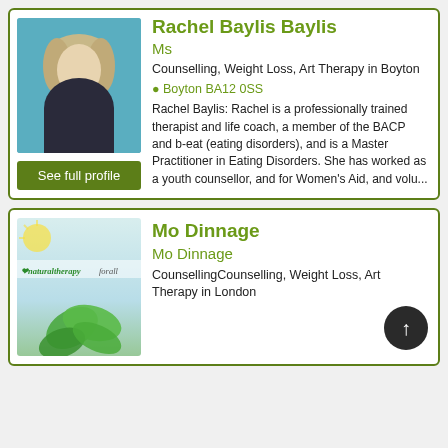Rachel Baylis Baylis
Ms
Counselling, Weight Loss, Art Therapy in Boyton
Boyton BA12 0SS
[Figure (photo): Profile photo of Rachel Baylis, a woman with light wavy hair seated in a blue chair]
See full profile
Rachel Baylis: Rachel is a professionally trained therapist and life coach, a member of the BACP and b-eat (eating disorders), and is a Master Practitioner in Eating Disorders. She has worked as a youth counsellor, and for Women's Aid, and volu...
Mo Dinnage
Mo Dinnage
[Figure (logo): Natural Therapy For All logo with green leaves]
CounsellingCounselling, Weight Loss, Art Therapy in London